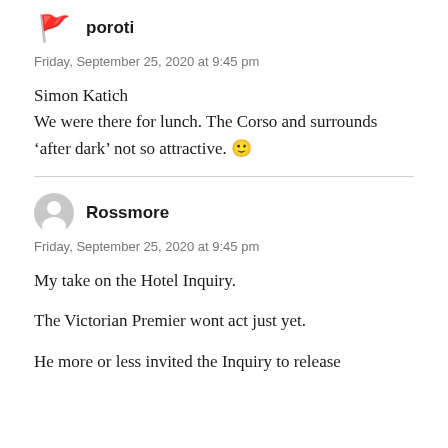poroti
Friday, September 25, 2020 at 9:45 pm
Simon Katich
We were there for lunch. The Corso and surrounds ‘after dark’ not so attractive. 🙂
Rossmore
Friday, September 25, 2020 at 9:45 pm
My take on the Hotel Inquiry.
The Victorian Premier wont act just yet.
He more or less invited the Inquiry to release